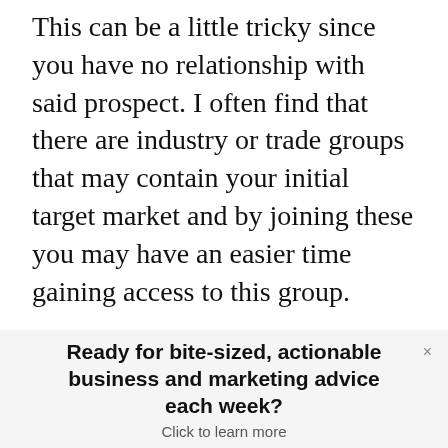This can be a little tricky since you have no relationship with said prospect. I often find that there are industry or trade groups that may contain your initial target market and by joining these you may have an easier time gaining access to this group.
Another possible option is to offer free sample products or beta test relationships to those willing to provide you with agreed upon feedback.
Ready for bite-sized, actionable business and marketing advice each week? Click to learn more